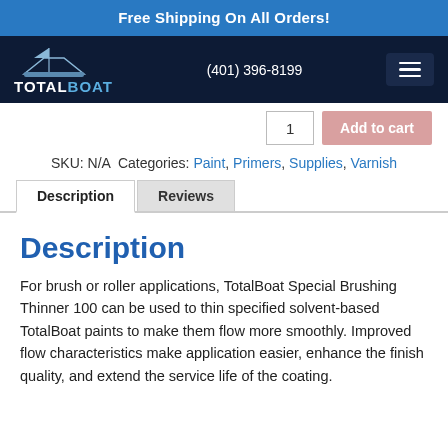Free Shipping On All Orders!
[Figure (logo): TotalBoat logo with boat icon and phone number (401) 396-8199 and hamburger menu]
Add to cart (quantity 1)
SKU: N/A  Categories: Paint, Primers, Supplies, Varnish
Description | Reviews (tabs)
Description
For brush or roller applications, TotalBoat Special Brushing Thinner 100 can be used to thin specified solvent-based TotalBoat paints to make them flow more smoothly. Improved flow characteristics make application easier, enhance the finish quality, and extend the service life of the coating.